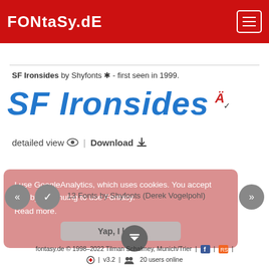FONtaSy.dE
SF Ironsides by Shyfonts ✱ - first seen in 1999.
[Figure (other): SF Ironsides font preview in large blue italic bold text, with a small red 'A' icon]
detailed view 👁 | Download ⬇
I use GoogleAnalytics, which uses cookies. You accept that by continuing to use Fontasy. Read more.
13 Fonts by Shyfonts (Derek Vogelpohl)
Yap, I know
fontasy.de © 1998–2022 Tilman Schalmey, Munich/Trier | f | RSS |
⊗ | v3.2 | 👥 20 users online